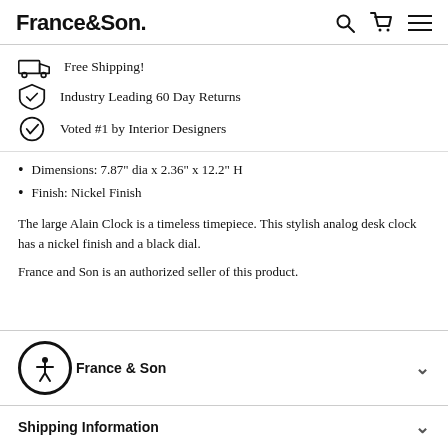France&Son.
Free Shipping!
Industry Leading 60 Day Returns
Voted #1 by Interior Designers
Dimensions: 7.87" dia x 2.36" x 12.2" H
Finish: Nickel Finish
The large Alain Clock is a timeless timepiece. This stylish analog desk clock has a nickel finish and a black dial.
France and Son is an authorized seller of this product.
France & Son
Shipping Information